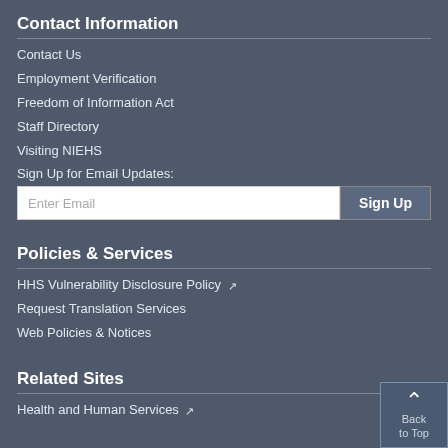Contact Information
Contact Us
Employment Verification
Freedom of Information Act
Staff Directory
Visiting NIEHS
Sign Up for Email Updates:
Enter Email [input field] Sign Up [button]
Policies & Services
HHS Vulnerability Disclosure Policy [external link]
Request Translation Services
Web Policies & Notices
Related Sites
Health and Human Services [external link]